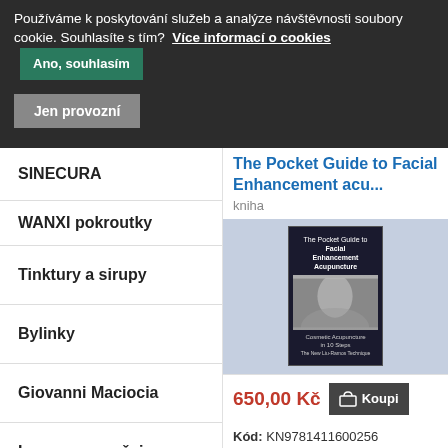Používáme k poskytování služeb a analýze návštěvnosti soubory cookie. Souhlasíte s tím? Více informací o cookies | Ano, souhlasím | Jen provozní
SINECURA
WANXI pokroutky
Tinktury a sirupy
Bylinky
Giovanni Maciocia
Leungovy směsi
Akupunktura
Kosmetika
The Pocket Guide to Facial Enhancement acu...
kniha
[Figure (photo): Book cover of The Pocket Guide to Facial Enhancement Acupuncture showing cosmetic acupuncture in 10 steps]
650,00 Kč
Kód: KN9781411600256